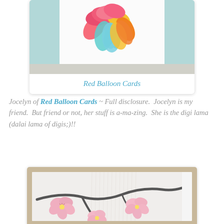[Figure (photo): Colorful floral/peacock greeting card photo against teal background, shown in a white card frame with shadow]
Red Balloon Cards
Jocelyn of Red Balloon Cards ~ Full disclosure.  Jocelyn is my friend.  But friend or not, her stuff is a-ma-zing.  She is the digi lama (dalai lama of digis;)!!
[Figure (photo): Cherry blossom card with dark branch and pink flowers on white textured background, matted on tan/gold card]